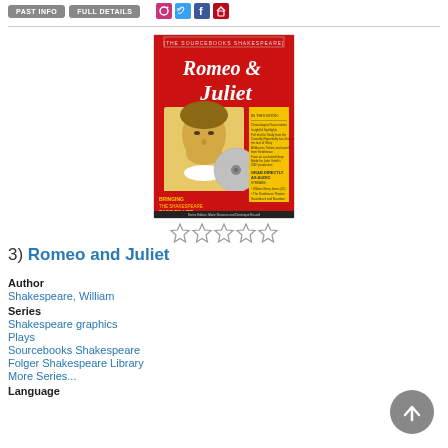PAST INFO | FULL DETAILS | social icons
[Figure (photo): Book cover of Romeo and Juliet from the Sourcebooks Shakespeare series, red cover with illustration of Shakespeare and title text]
[Figure (other): 5 empty star rating icons]
3) Romeo and Juliet
Author
Shakespeare, William
Series
Shakespeare graphics
Plays
Sourcebooks Shakespeare
Folger Shakespeare Library
More Series...
Language